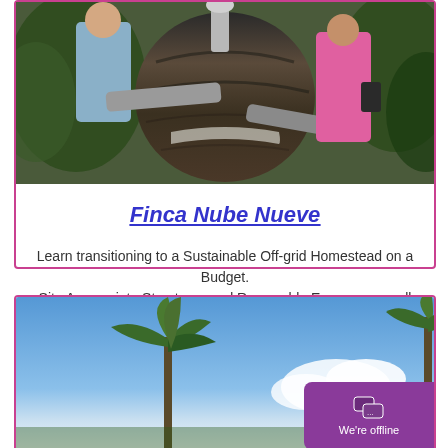[Figure (photo): People examining a large clay biodigester pot with pipes, surrounded by green vegetation]
Finca Nube Nueve
Learn transitioning to a Sustainable Off-grid Homestead on a Budget. Site Appropriate Structures and Renewable Energy on small family farm.
[Figure (photo): Palm trees against a blue sky with clouds, bottom portion of a card section]